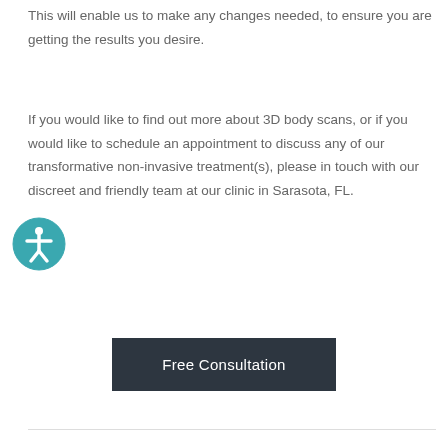This will enable us to make any changes needed, to ensure you are getting the results you desire.
If you would like to find out more about 3D body scans, or if you would like to schedule an appointment to discuss any of our transformative non-invasive treatment(s), please in touch with our discreet and friendly team at our clinic in Sarasota, FL.
Free Consultation